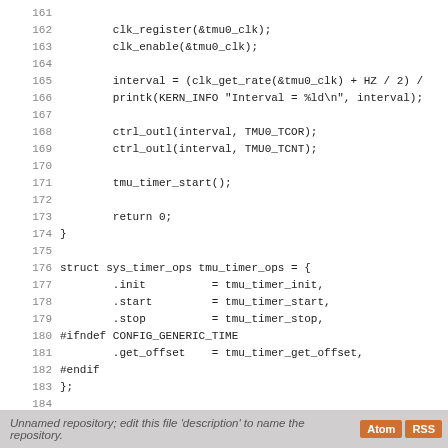Code listing lines 161-188: C source code for TMU timer initialization and struct definitions
Unnamed repository; edit this file 'description' to name the repository.